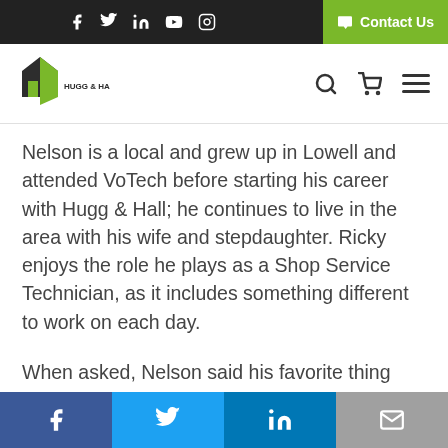Hugg & Hall website header with social icons and Contact Us button
[Figure (logo): Hugg & Hall logo — stylized building/arrow mark with HUGG & HALL text below]
Nelson is a local and grew up in Lowell and attended VoTech before starting his career with Hugg & Hall; he continues to live in the area with his wife and stepdaughter. Ricky enjoys the role he plays as a Shop Service Technician, as it includes something different to work on each day.
When asked, Nelson said his favorite thing about working for Hugg & Hall is the good people and the friends he has made throughout his years at the company. The friends Ricky has made here have lead to
Share bar: Facebook, Twitter, LinkedIn, Email